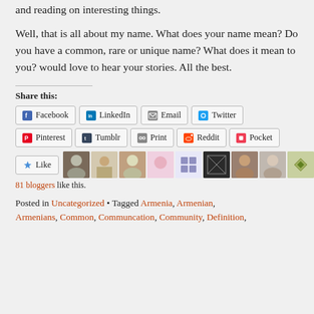and reading on interesting things.
Well, that is all about my name. What does your name mean? Do you have a common, rare or unique name? What does it mean to you? would love to hear your stories. All the best.
Share this:
Facebook  LinkedIn  Email  Twitter  Pinterest  Tumblr  Print  Reddit  Pocket
Like  [avatars]  81 bloggers like this.
Posted in Uncategorized • Tagged Armenia, Armenian, Armenians, Common, Communcation, Community, Definition,